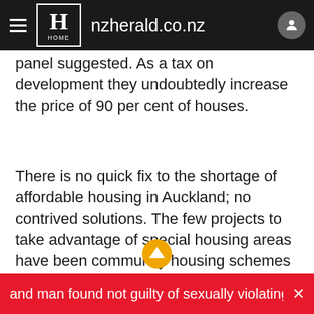nzherald.co.nz
panel suggested. As a tax on development they undoubtedly increase the price of 90 per cent of houses.
There is no quick fix to the shortage of affordable housing in Auckland; no contrived solutions. The few projects to take advantage of special housing areas have been community housing schemes with government support. They barely make a dent in the numbers who cannot afford current market prices. If the Unitary Plan can greatly increase the supply of
and man found not guilty of sexually violating Kiwi musici